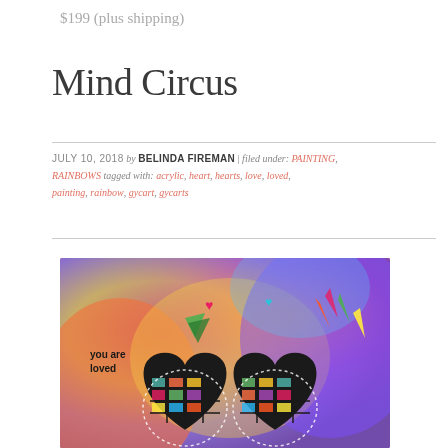$199 (plus shipping)
Mind Circus
JULY 10, 2018 by BELINDA FIREMAN | filed under: PAINTING, RAINBOWS tagged with: acrylic, heart, hearts, love, loved, painting, rainbow, gycart, gycarts
[Figure (photo): Colorful acrylic painting with two hearts made of multicolored grid squares on a vibrant rainbow background, with leaves and colorful bursts, text reading 'you are loved']